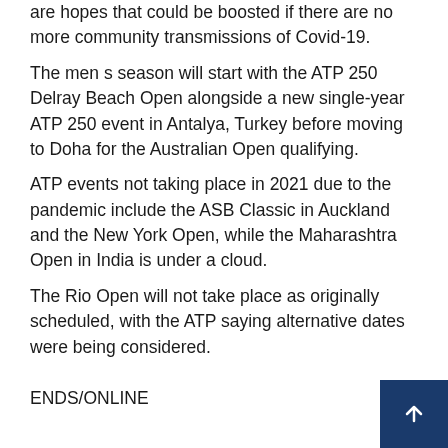are hopes that could be boosted if there are no more community transmissions of Covid-19.
The men s season will start with the ATP 250 Delray Beach Open alongside a new single-year ATP 250 event in Antalya, Turkey before moving to Doha for the Australian Open qualifying.
ATP events not taking place in 2021 due to the pandemic include the ASB Classic in Auckland and the New York Open, while the Maharashtra Open in India is under a cloud.
The Rio Open will not take place as originally scheduled, with the ATP saying alternative dates were being considered.
ENDS/ONLINE